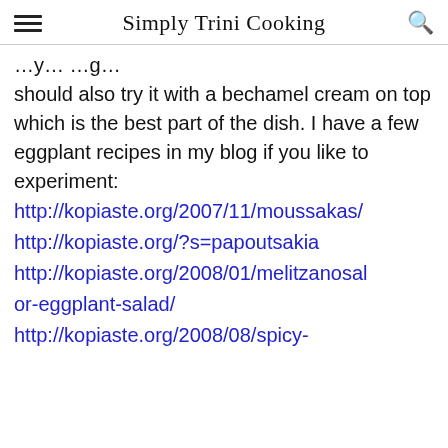Simply Trini Cooking
...you should also try it with a bechamel cream on top which is the best part of the dish. I have a few eggplant recipes in my blog if you like to experiment:
http://kopiaste.org/2007/11/moussakas/
http://kopiaste.org/?s=papoutsakia
http://kopiaste.org/2008/01/melitzanosalata-or-eggplant-salad/
http://kopiaste.org/2008/08/spicy-